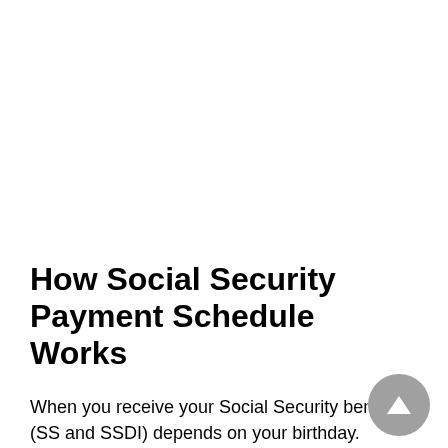How Social Security Payment Schedule Works
When you receive your Social Security benefits (SS and SSDI) depends on your birthday.
If your birthday falls between the 1st and 10th of the month, you'll receive SSDI benefits on the